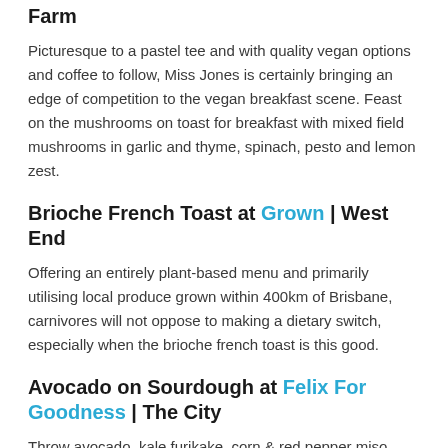Farm
Picturesque to a pastel tee and with quality vegan options and coffee to follow, Miss Jones is certainly bringing an edge of competition to the vegan breakfast scene. Feast on the mushrooms on toast for breakfast with mixed field mushrooms in garlic and thyme, spinach, pesto and lemon zest.
Brioche French Toast at Grown | West End
Offering an entirely plant-based menu and primarily utilising local produce grown within 400km of Brisbane, carnivores will not oppose to making a dietary switch, especially when the brioche french toast is this good.
Avocado on Sourdough at Felix For Goodness | The City
Throw avocado, kale furikake, corn & red pepper miso salsa, kraut and chilli oil onto a piece of sourdough and what does this give you? The Felix For Goodness